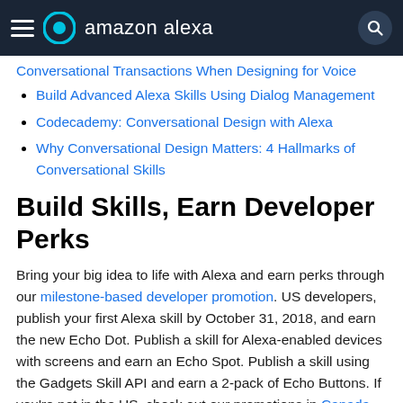amazon alexa
Conversational Transactions When Designing for Voice
Build Advanced Alexa Skills Using Dialog Management
Codecademy: Conversational Design with Alexa
Why Conversational Design Matters: 4 Hallmarks of Conversational Skills
Build Skills, Earn Developer Perks
Bring your big idea to life with Alexa and earn perks through our milestone-based developer promotion. US developers, publish your first Alexa skill by October 31, 2018, and earn the new Echo Dot. Publish a skill for Alexa-enabled devices with screens and earn an Echo Spot. Publish a skill using the Gadgets Skill API and earn a 2-pack of Echo Buttons. If you're not in the US, check out our promotions in Canada, the UK, Germany, Japan, France, Australia, and India. Learn more about our promotion and start building today.